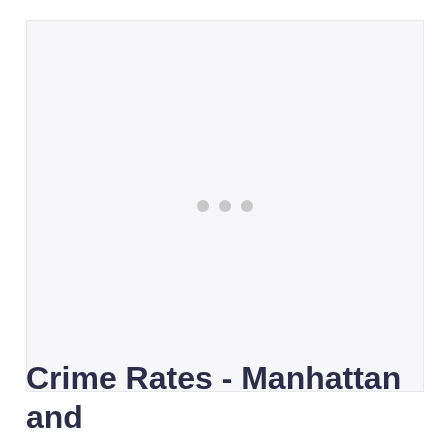[Figure (other): Loading placeholder area with three grey dots indicating content is loading]
Crime Rates - Manhattan and